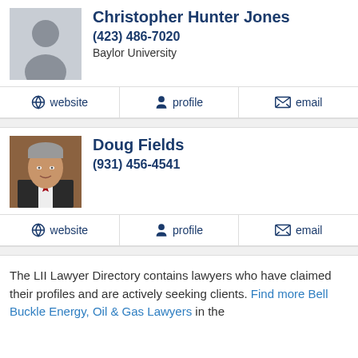Christopher Hunter Jones
(423) 486-7020
Baylor University
website
profile
email
[Figure (photo): Placeholder silhouette avatar for Christopher Hunter Jones]
Doug Fields
(931) 456-4541
[Figure (photo): Photo of Doug Fields, an older man with gray hair wearing a suit with a red tie against a brown background]
website
profile
email
The LII Lawyer Directory contains lawyers who have claimed their profiles and are actively seeking clients. Find more Bell Buckle Energy, Oil & Gas Lawyers in the